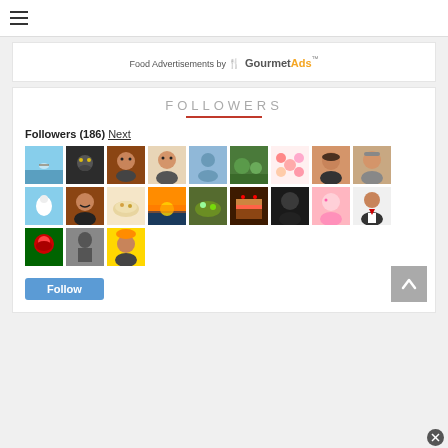[Figure (screenshot): Hamburger menu icon (three horizontal lines)]
Food Advertisements by GourmetAds™
FOLLOWERS
Followers (186) Next
[Figure (photo): Grid of 23 follower avatar photos/thumbnails in three rows]
Follow